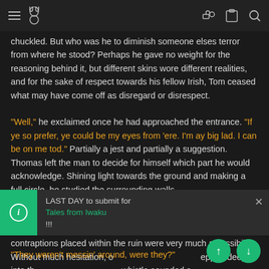[hamburger menu] [rabbit logo] [key icon] [clipboard icon] [search icon]
chuckled. But who was he to diminish someone elses terror from where he stood? Perhaps he gave no weight for the reasoning behind it, but different skins wore different realities, and for the sake of respect towards his fellow Irish, Tom ceased what may have come off as disregard or disrespect.
"Well," he exclaimed once he had approached the entrance. "If ye so prefer, ye could be my eyes from 'ere. I'm ay big lad. I can be on me tod." Partially a jest and partially a suggestion. Thomas left the man to decide for himself which part he would acknowledge. Shining light towards the ground and making a full circle, he studied the surrounding walls.
He may not have believed savage, vengeful ghosts were waiting behind every corner, but traps and other ancient contraptions placed within the ruin were very much a possibility. Without much hesitation, o[...] epped deeper into th[...] whistle sounded a[...]
LAST DAY to submit for Tales from Iwaku!!!
"They weren't messin' around, were they?"